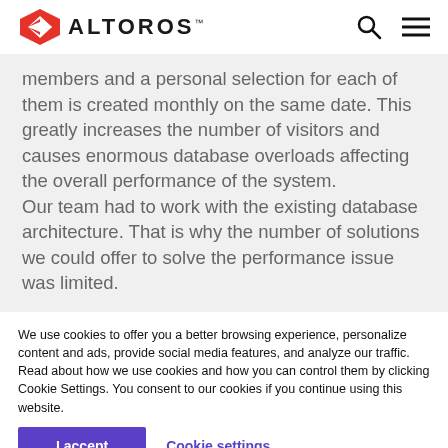ALTOROS
members and a personal selection for each of them is created monthly on the same date. This greatly increases the number of visitors and causes enormous database overloads affecting the overall performance of the system.
Our team had to work with the existing database architecture. That is why the number of solutions we could offer to solve the performance issue was limited.
We use cookies to offer you a better browsing experience, personalize content and ads, provide social media features, and analyze our traffic. Read about how we use cookies and how you can control them by clicking Cookie Settings. You consent to our cookies if you continue using this website.
I accept
Cookie settings